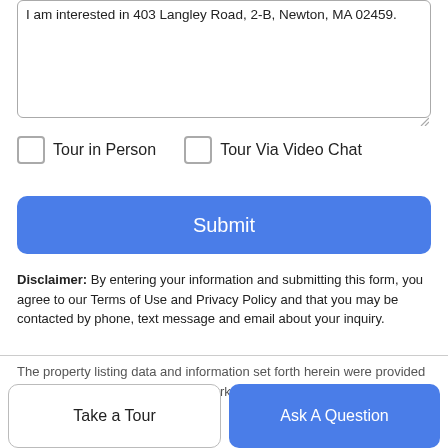I am interested in 403 Langley Road, 2-B, Newton, MA 02459.
Tour in Person
Tour Via Video Chat
Submit
Disclaimer: By entering your information and submitting this form, you agree to our Terms of Use and Privacy Policy and that you may be contacted by phone, text message and email about your inquiry.
The property listing data and information set forth herein were provided to MLS Property Information Network, Inc. from third
Take a Tour
Ask A Question